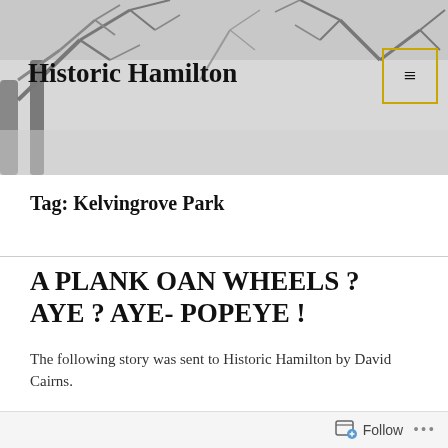[Figure (photo): Grayscale header banner with bare tree branches against a light sky background]
Historic Hamilton
Tag: Kelvingrove Park
A PLANK OAN WHEELS ? AYE ? AYE- POPEYE !
The following story was sent to Historic Hamilton by David Cairns.
Jimmy Scott fae Ratho Park was the first guy ever-
Follow